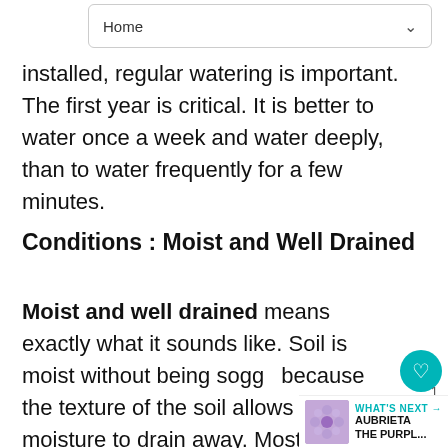Home
installed, regular watering is important. The first year is critical. It is better to water once a week and water deeply, than to water frequently for a few minutes.
Conditions : Moist and Well Drained
Moist and well drained means exactly what it sounds like. Soil is moist without being soggy because the texture of the soil allows excess moisture to drain away. Most plants like about 1 inch of water per week. Amending your soil with compost will help improve texture, water holding or draining capacity. A 3 inch layer of mulch will help to maintain soil